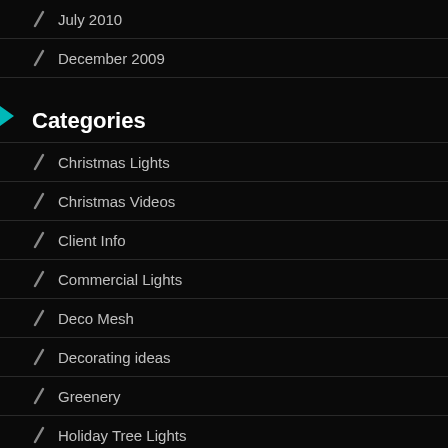July 2010
December 2009
Categories
Christmas Lights
Christmas Videos
Client Info
Commercial Lights
Deco Mesh
Decorating ideas
Greenery
Holiday Tree Lights
Home Lighting
Just for fun
LED lights